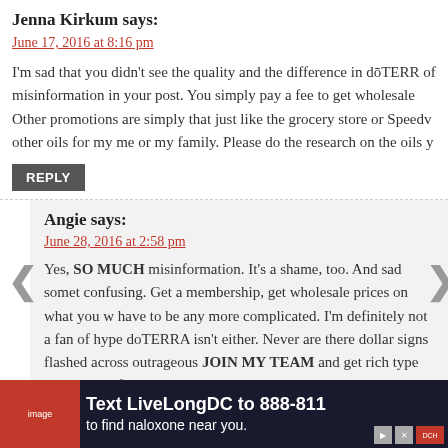Jenna Kirkum says:
June 17, 2016 at 8:16 pm
I'm sad that you didn't see the quality and the difference in dōTERRA of misinformation in your post. You simply pay a fee to get wholesale. Other promotions are simply that just like the grocery store or Speedw other oils for my me or my family. Please do the research on the oils y
REPLY
Angie says:
June 28, 2016 at 2:58 pm
Yes, SO MUCH misinformation. It's a shame, too. And sad somet confusing. Get a membership, get wholesale prices on what you w have to be any more complicated. I'm definitely not a fan of hype doTERRA isn't either. Never are there dollar signs flashed across outrageous JOIN MY TEAM and get rich type claims. The fl
Text LiveLongDC to 888-811 to find naloxone near you.